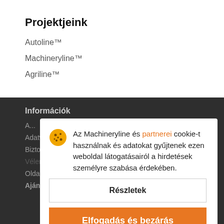Projektjeink
Autoline™
Machineryline™
Agriline™
Információk
Az Machineryline és partnerei cookie-t használnak és adatokat gyűjtenek ezen weboldal látogatásairól a hirdetések személyre szabása érdekében.
Részletek
Elfogadás és bezárás